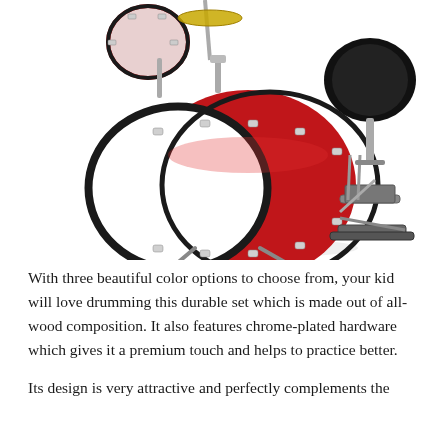[Figure (photo): A red junior drum kit set with chrome-plated hardware, showing a large bass drum with white head, smaller tom drums, a drum stool/cymbal pad, and a bass drum pedal, all on a white background.]
With three beautiful color options to choose from, your kid will love drumming this durable set which is made out of all-wood composition. It also features chrome-plated hardware which gives it a premium touch and helps to practice better.
Its design is very attractive and perfectly complements the